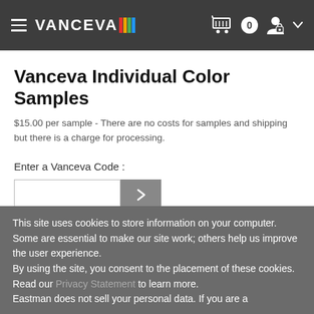VANCEVA navigation header with hamburger menu, cart icon with 0 items, user icon with lock, and dropdown arrow
Vanceva Individual Color Samples
$15.00 per sample - There are no costs for samples and shipping but there is a charge for processing.
Enter a Vanceva Code :
This site uses cookies to store information on your computer. Some are essential to make our site work; others help us improve the user experience. By using the site, you consent to the placement of these cookies. Read our Privacy Statement to learn more. Eastman does not sell your personal data. If you are a